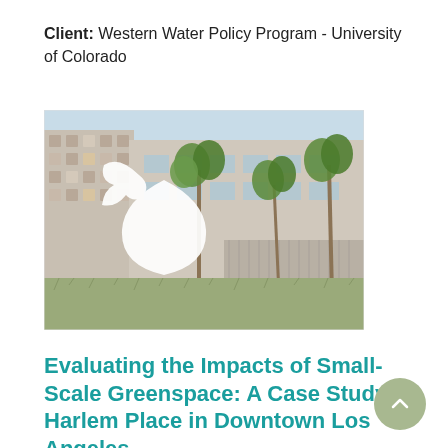Client: Western Water Policy Program - University of Colorado
[Figure (photo): Photograph of a building with palm trees and green grass in the foreground, overlaid with a white leaf/droplet logo watermark]
Evaluating the Impacts of Small-Scale Greenspace: A Case Study of Harlem Place in Downtown Los Angeles